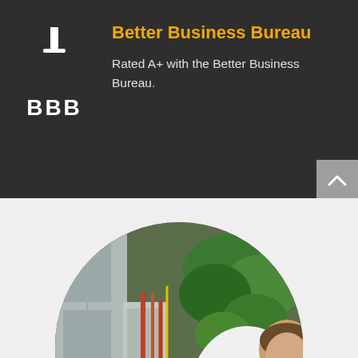[Figure (logo): Better Business Bureau (BBB) logo — white torch/flame icon above 'BBB' text in white on dark background]
Better Business Bureau
Rated A+ with the Better Business Bureau.
[Figure (photo): A technician in a white uniform bends over to inspect HVAC/plumbing equipment with copper pipes outside a building, surrounded by green plants. Image is circular-cropped.]